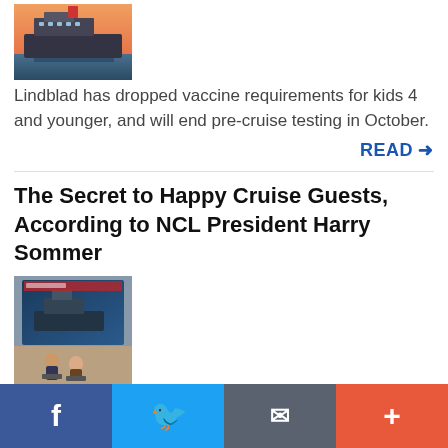[Figure (photo): Photo of a large cruise ship at sea during sunset/dusk]
Lindblad has dropped vaccine requirements for kids 4 and younger, and will end pre-cruise testing in October.
READ →
The Secret to Happy Cruise Guests, According to NCL President Harry Sommer
[Figure (photo): Photo of two people seated on a stage with a large screen behind them showing a cruise ship]
Onboard NCL's newest cruise ship, Norwegian Prima, the line's president talked about happy guests, booking trends, the importance of the travel trade, and more.
READ →
Facebook  Twitter  Email  More